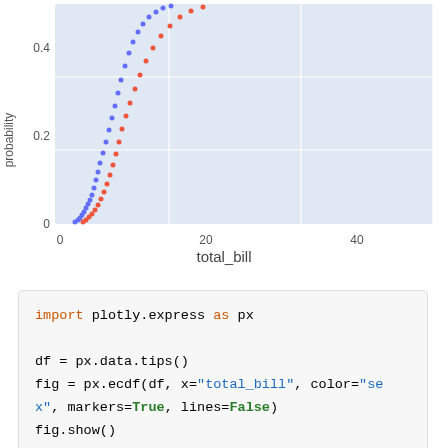[Figure (continuous-plot): ECDF plot showing two curves (blue and red/orange) of 'probability' (y-axis, 0 to ~0.5 visible) vs 'total_bill' (x-axis, 0 to ~40+). The blue curve rises slightly to the left of the red/orange curve. Y-axis ticks: 0, 0.2, 0.4. X-axis ticks: 0, 20, 40. Plot area has light blue background with white gridlines.]
total_bill
import plotly.express as px

df = px.data.tips()
fig = px.ecdf(df, x="total_bill", color="sex", markers=True, lines=False)
fig.show()